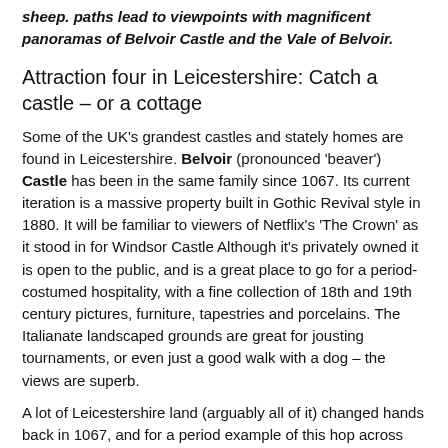sheep. paths lead to viewpoints with magnificent panoramas of Belvoir Castle and the Vale of Belvoir.
Attraction four in Leicestershire: Catch a castle – or a cottage
Some of the UK's grandest castles and stately homes are found in Leicestershire. Belvoir (pronounced 'beaver') Castle has been in the same family since 1067. Its current iteration is a massive property built in Gothic Revival style in 1880. It will be familiar to viewers of Netflix's 'The Crown' as it stood in for Windsor Castle Although it's privately owned it is open to the public, and is a great place to go for a period-costumed hospitality, with a fine collection of 18th and 19th century pictures, furniture, tapestries and porcelains. The Italianate landscaped grounds are great for jousting tournaments, or even just a good walk with a dog – the views are superb.
A lot of Leicestershire land (arguably all of it) changed hands back in 1067, and for a period example of this hop across the border into Northamptonshire to visit Rockingham Castle. This was built by William the Conqueror and was used by the early Kings of England